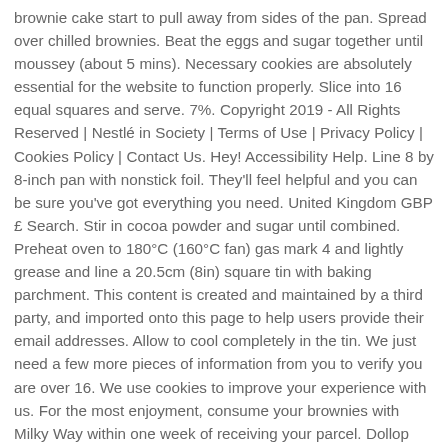brownie cake start to pull away from sides of the pan. Spread over chilled brownies. Beat the eggs and sugar together until moussey (about 5 mins). Necessary cookies are absolutely essential for the website to function properly. Slice into 16 equal squares and serve. 7%. Copyright 2019 - All Rights Reserved | Nestlé in Society | Terms of Use | Privacy Policy | Cookies Policy | Contact Us. Hey! Accessibility Help. Line 8 by 8-inch pan with nonstick foil. They'll feel helpful and you can be sure you've got everything you need. United Kingdom GBP £ Search. Stir in cocoa powder and sugar until combined. Preheat oven to 180°C (160°C fan) gas mark 4 and lightly grease and line a 20.5cm (8in) square tin with baking parchment. This content is created and maintained by a third party, and imported onto this page to help users provide their email addresses. Allow to cool completely in the tin. We just need a few more pieces of information from you to verify you are over 16. We use cookies to improve your experience with us. For the most enjoyment, consume your brownies with Milky Way within one week of receiving your parcel. Dollop spoonfuls of chocolate onto the brownie and swirl with the back of a spoon. This website uses cookies to improve your experience while you navigate through the website. Candace Braun Davison writes, edits, and produces lifestyle